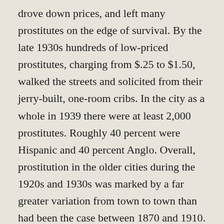drove down prices, and left many prostitutes on the edge of survival. By the late 1930s hundreds of low-priced prostitutes, charging from $.25 to $1.50, walked the streets and solicited from their jerry-built, one-room cribs. In the city as a whole in 1939 there were at least 2,000 prostitutes. Roughly 40 percent were Hispanic and 40 percent Anglo. Overall, prostitution in the older cities during the 1920s and 1930s was marked by a far greater variation from town to town than had been the case between 1870 and 1910.
Prostitution reached its most frenetic pace during the interwar years in the oil boomtowns. Thronged with single men earning relatively high wages, towns such as Borger in the Panhandle, Wink and McCamey in West Texas, and Kilgore in East Texas, attracted large...